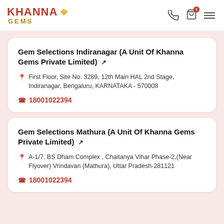KHANNA GEMS
Gem Selections Indiranagar (A Unit Of Khanna Gems Private Limited)
First Floor, Site No. 3289, 12th Main HAL 2nd Stage, Indiranagar, Bengaluru, KARNATAKA - 570008
18001022394
Gem Selections Mathura (A Unit Of Khanna Gems Private Limited)
A-1/7, BS Dham Complex , Chaitanya Vihar Phase-2,(Near Flyover) Vrindavan (Mathura), Uttar Pradesh-281121
18001022394